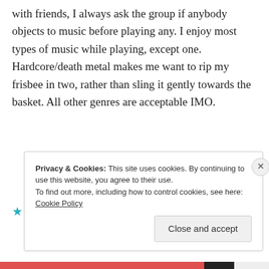with friends, I always ask the group if anybody objects to music before playing any. I enjoy most types of music while playing, except one. Hardcore/death metal makes me want to rip my frisbee in two, rather than sling it gently towards the basket. All other genres are acceptable IMO.
Like
REPLY
Privacy & Cookies: This site uses cookies. By continuing to use this website, you agree to their use. To find out more, including how to control cookies, see here: Cookie Policy
Close and accept